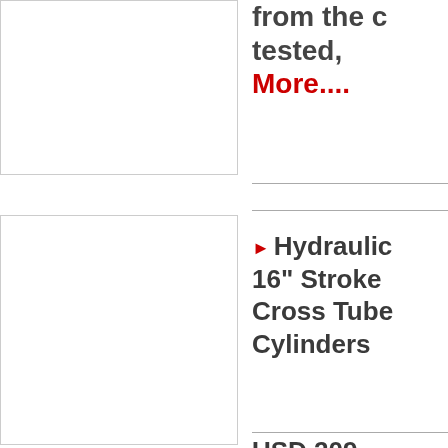[Figure (photo): Product image placeholder (top left)]
from the c tested, More....
[Figure (photo): Product image placeholder (bottom left)]
Hydraulic 16" Stroke Cross Tube Cylinders
USD 209